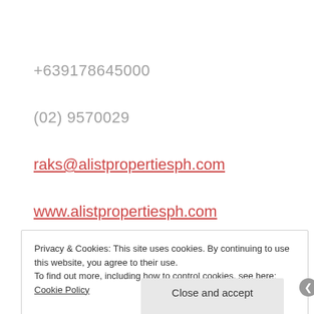+639178645000
(02) 9570029
raks@alistpropertiesph.com
www.alistpropertiesph.com
Privacy & Cookies: This site uses cookies. By continuing to use this website, you agree to their use. To find out more, including how to control cookies, see here: Cookie Policy
Close and accept